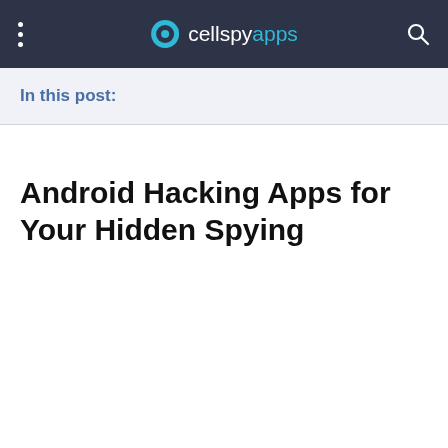cellspyapps
In this post:
Android Hacking Apps for Your Hidden Spying